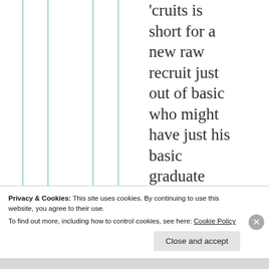'cruits is short for a new raw recruit just out of basic who might have just his basic graduate ribbon since he has not
Privacy & Cookies: This site uses cookies. By continuing to use this website, you agree to their use.
To find out more, including how to control cookies, see here: Cookie Policy
Close and accept